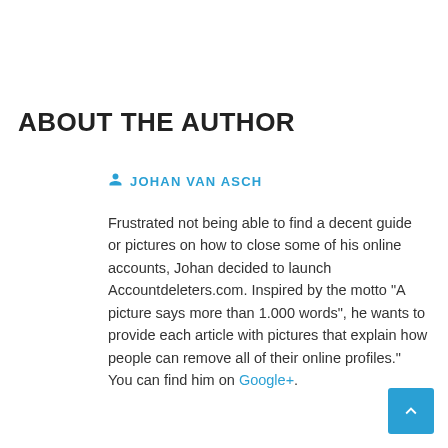ABOUT THE AUTHOR
JOHAN VAN ASCH
Frustrated not being able to find a decent guide or pictures on how to close some of his online accounts, Johan decided to launch Accountdeleters.com. Inspired by the motto "A picture says more than 1.000 words", he wants to provide each article with pictures that explain how people can remove all of their online profiles." You can find him on Google+.